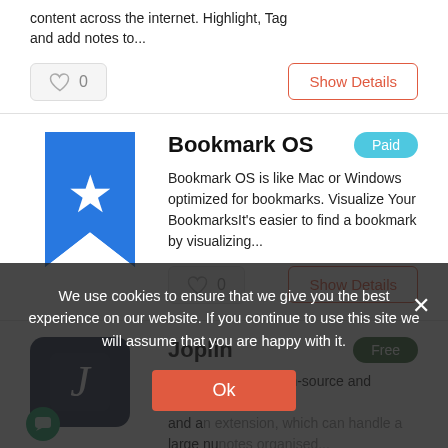content across the internet. Highlight, Tag and add notes to...
[Figure (screenshot): Heart icon with count 0 and Show Details button]
[Figure (logo): Bookmark OS blue star bookmark icon]
Bookmark OS
Paid
Bookmark OS is like Mac or Windows optimized for bookmarks. Visualize Your BookmarksIt's easier to find a bookmark by visualizing...
[Figure (screenshot): Heart icon with count 0 and Show Details button]
[Figure (logo): Joplin dark app icon]
Joplin
Free
Joplin is a free, open-source and Markdown and an extension, which can handle a large nu notes organised...
We use cookies to ensure that we give you the best experience on our website. If you continue to use this site we will assume that you are happy with it.
Ok